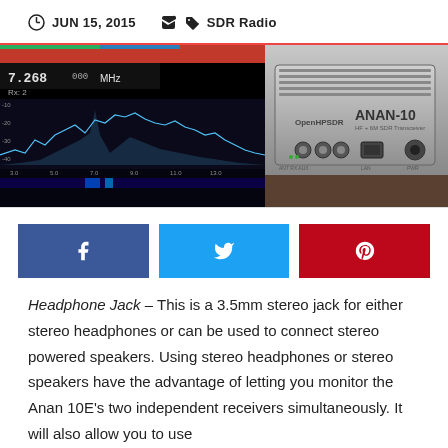JUN 15, 2015  SDR Radio
[Figure (photo): Left: SDR software screen showing spectrum display at 7.268 MHz. Right: Back panel of ANAN-10 SDR radio transceiver showing ports and connectors with OpenHPSDR branding.]
[Figure (infographic): Three social sharing buttons: Facebook (blue), Twitter (light blue), Pinterest (red)]
Headphone Jack – This is a 3.5mm stereo jack for either stereo headphones or can be used to connect stereo powered speakers. Using stereo headphones or stereo speakers have the advantage of letting you monitor the Anan 10E's two independent receivers simultaneously. It will also allow you to use